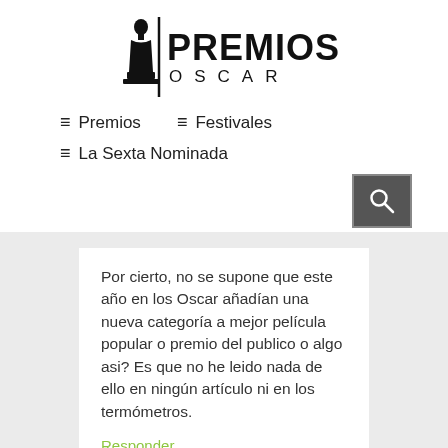[Figure (logo): Premios Oscar logo with Oscar statuette silhouette and text PREMIOS OSCAR]
≡ Premios   ≡ Festivales   ≡ La Sexta Nominada
[Figure (other): Search button icon (magnifying glass on dark grey background)]
Por cierto, no se supone que este año en los Oscar añadían una nueva categoría a mejor película popular o premio del publico o algo asi? Es que no he leido nada de ello en ningún artículo ni en los termómetros.
Responder